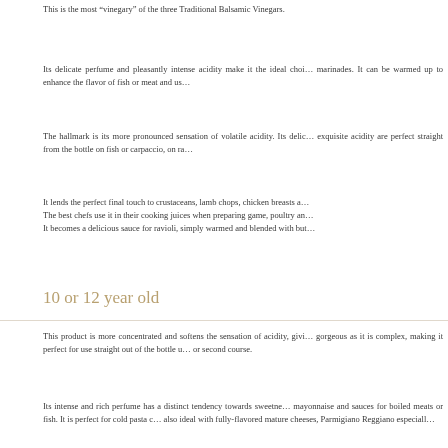This is the most “vinegary” of the three Traditional Balsamic Vinegars.
Its delicate perfume and pleasantly intense acidity make it the ideal choice for marinades. It can be warmed up to enhance the flavor of fish or meat and us…
The hallmark is its more pronounced sensation of volatile acidity. Its delic… exquisite acidity are perfect straight from the bottle on fish or carpaccio, on ra…
It lends the perfect final touch to crustaceans, lamb chops, chicken breasts a… The best chefs use it in their cooking juices when preparing game, poultry an… It becomes a delicious sauce for ravioli, simply warmed and blended with but…
10 or 12 year old
This product is more concentrated and softens the sensation of acidity, givi… gorgeous as it is complex, making it perfect for use straight out of the bottle u… or second course.
Its intense and rich perfume has a distinct tendency towards sweetne… mayonnaise and sauces for boiled meats or fish. It is perfect for cold pasta c… also ideal with fully-flavored mature cheeses, Parmigiano Reggiano especiall…